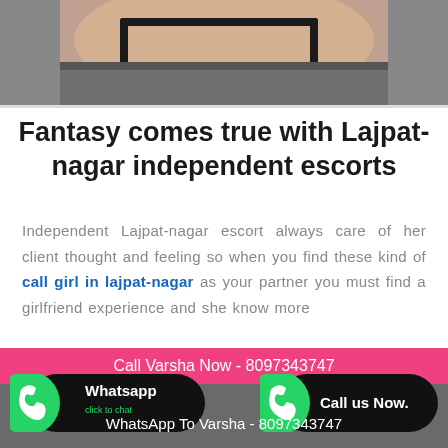[Figure (photo): Cropped photo showing a person's torso area with dark bra strap and grey pants/shorts]
Fantasy comes true with Lajpat-nagar independent escorts
Independent Lajpat-nagar escort always care of her client thought and feeling so when you find these kind of call girl in lajpat-nagar as your partner you must find a girlfriend experience and she know more
Call Varsha Now - 8097343747
[Figure (logo): WhatsApp button with green circular WhatsApp icon, black rounded rectangle with Whatsapp text and click to chat]
[Figure (logo): Call us Now button with green circular phone icon, black rounded rectangle with Call us Now text]
WhatsApp To Varsha - 8097343747